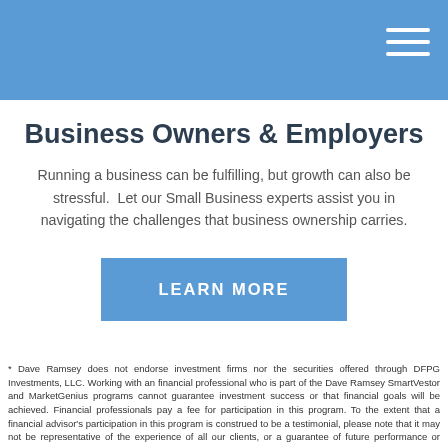Business Owners & Employers
Running a business can be fulfilling, but growth can also be stressful.  Let our Small Business experts assist you in navigating the challenges that business ownership carries.
[Figure (other): Blue 'LEARN MORE' button]
* Dave Ramsey does not endorse investment firms nor the securities offered through DFPG Investments, LLC. Working with an financial professional who is part of the Dave Ramsey SmartVestor and MarketGenius programs cannot guarantee investment success or that financial goals will be achieved. Financial professionals pay a fee for participation in this program. To the extent that a financial advisor's participation in this program is construed to be a testimonial, please note that it may not be representative of the experience of all our clients, or a guarantee of future performance or success.